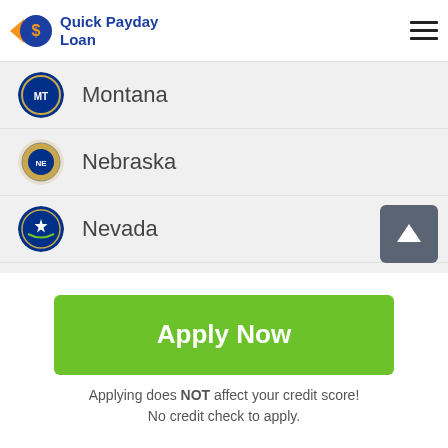Quick Payday Loan
Montana
Nebraska
Nevada
New Hampshire
New Jersey
New Mexico
Apply Now
Applying does NOT affect your credit score!
No credit check to apply.